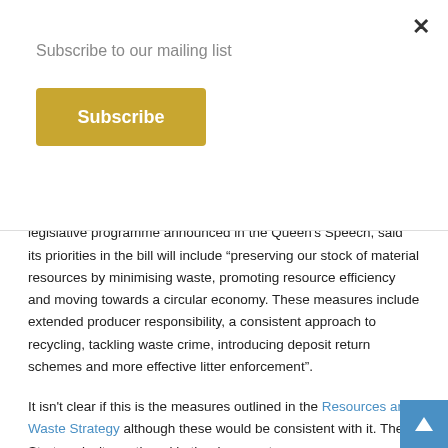Subscribe to our mailing list
The Government, in its document outlining the proposed legislative programme announced in the Queen's Speech, said its priorities in the bill will include “preserving our stock of material resources by minimising waste, promoting resource efficiency and moving towards a circular economy. These measures include extended producer responsibility, a consistent approach to recycling, tackling waste crime, introducing deposit return schemes and more effective litter enforcement”.
It isn't clear if this is the measures outlined in the Resources and Waste Strategy although these would be consistent with it. The Strategy isn't mentioned in the document.